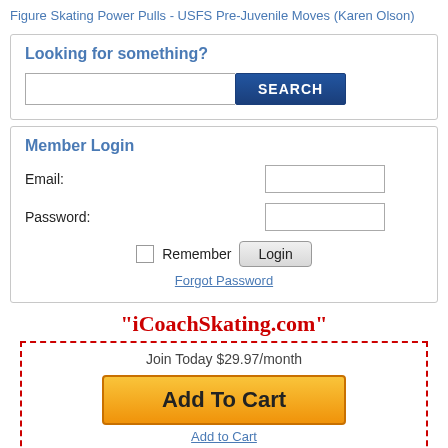Figure Skating Power Pulls - USFS Pre-Juvenile Moves (Karen Olson)
Looking for something?
Member Login
Email:
Password:
Remember
Forgot Password
"iCoachSkating.com"
Join Today $29.97/month
Add To Cart
Add to Cart